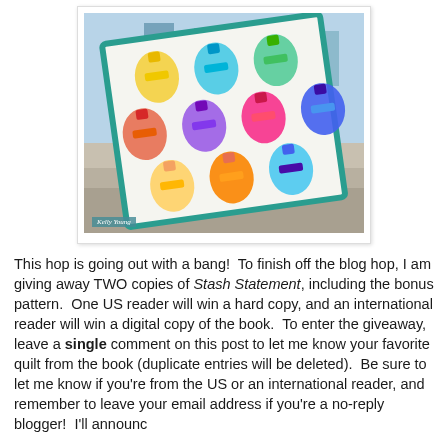[Figure (photo): A colorful quilt with lantern/ornament shaped patchwork blocks in rainbow colors, draped outdoors on concrete steps with city buildings in background. Photo credit: Kelly Young]
This hop is going out with a bang!  To finish off the blog hop, I am giving away TWO copies of Stash Statement, including the bonus pattern.  One US reader will win a hard copy, and an international reader will win a digital copy of the book.  To enter the giveaway, leave a single comment on this post to let me know your favorite quilt from the book (duplicate entries will be deleted).  Be sure to let me know if you're from the US or an international reader, and remember to leave your email address if you're a no-reply blogger!  I'll announce